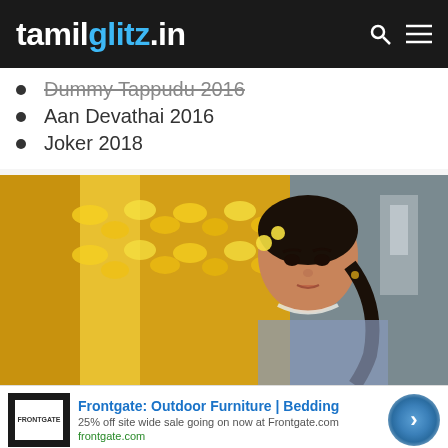tamilglitz.in
Dummy Tappudu 2016
Aan Devathai 2016
Joker 2018
[Figure (photo): A woman in a light blue saree wearing pearl necklace, with yellow marigold garlands in the background]
Frontgate: Outdoor Furniture | Bedding
25% off site wide sale going on now at Frontgate.com
frontgate.com